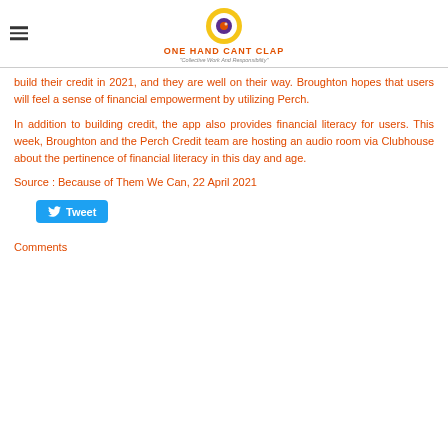ONE HAND CANT CLAP — Collective Work And Responsibility
build their credit in 2021, and they are well on their way. Broughton hopes that users will feel a sense of financial empowerment by utilizing Perch.
In addition to building credit, the app also provides financial literacy for users. This week, Broughton and the Perch Credit team are hosting an audio room via Clubhouse about the pertinence of financial literacy in this day and age.
Source : Because of Them We Can, 22 April 2021
[Figure (other): Tweet button with Twitter bird icon]
Comments